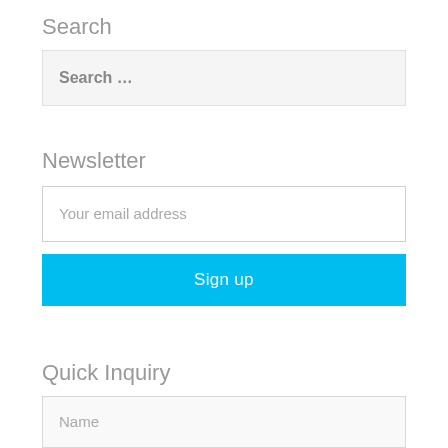Search
Search …
Newsletter
Your email address
Sign up
Quick Inquiry
Name